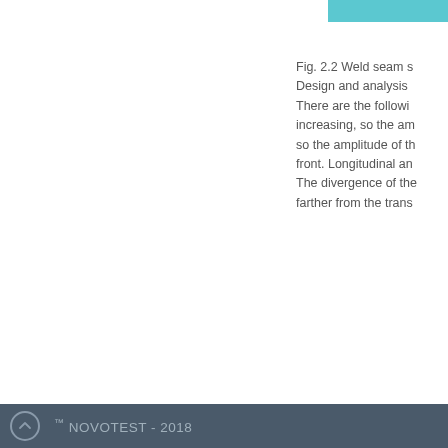[Figure (other): Teal/cyan colored bar or header element at top right of page]
Fig. 2.2 Weld seam s Design and analysis There are the following increasing, so the am so the amplitude of th front. Longitudinal an The divergence of the farther from the trans
™ NOVOTEST - 2018